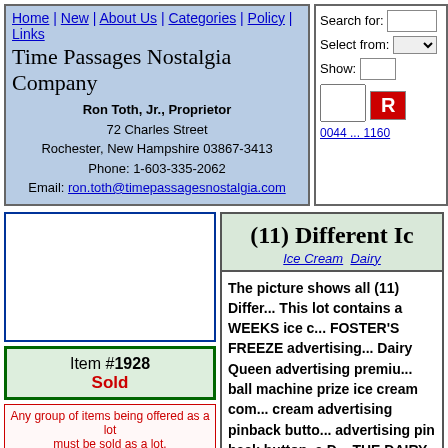Home | New | About Us | Categories | Policy | Links
Time Passages Nostalgia Company
Ron Toth, Jr., Proprietor
72 Charles Street
Rochester, New Hampshire 03867-3413
Phone: 1-603-335-2062
Email: ron.toth@timepassagesnostalgia.com
Search for:
Select from:
Show:
0044 ... 1160
[Figure (other): Item image placeholder box (empty white rectangle with blue border)]
Item #1928
Sold
Any group of items being offered as a lot must be sold as a lot.
(11) Different Ic
Ice Cream  Dairy
The picture shows all (11) Differ... This lot contains a WEEKS ice c... FOSTER'S FREEZE advertising... Dairy Queen advertising premiu... ball machine prize ice cream com... cream advertising pinback butto... advertising pin back button, a D... THE DAIRY QUEEN" advertisi... figure, and finally a HOOD ice c... judge the sizes the Bendy figure... in excellent to mint condition. T...